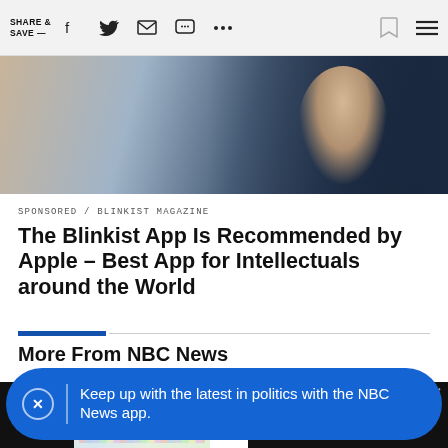SHARE & SAVE —
[Figure (photo): Blurred close-up photo of a person in dark clothing, hero image for article]
SPONSORED / BLINKIST MAGAZINE
The Blinkist App Is Recommended by Apple – Best App for Intellectuals around the World
More From NBC News
[Figure (screenshot): NBC News thumbnail with peacock logo and colorful book shelves background]
[Figure (screenshot): Video player overlay showing YOUR VIDEO BEGINS with TAP TO UNMUTE button]
Keep up with the latest in politics with the NBC News app.